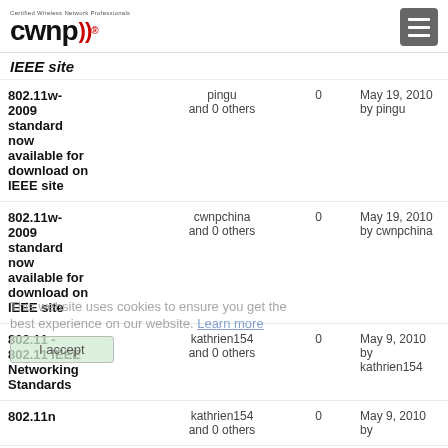CWNP - Certified Wireless Network Professionals
IEEE site
| Topic | Started by | Replies | Last post |
| --- | --- | --- | --- |
| 802.11w-2009 standard now available for download on IEEE site | pingu and 0 others | 0 | May 19, 2010 by pingu |
| 802.11w-2009 standard now available for download on IEEE site | cwnpchina and 0 others | 0 | May 19, 2010 by cwnpchina |
| 802.11 - 802.11 IEEE Networking Standards | kathrien154 and 0 others | 0 | May 9, 2010 by kathrien154 |
| 802.11n | kathrien154 and 0 others | 0 | May 9, 2010 by |
This website uses cookies to ensure you get the best experience on our website. Learn more